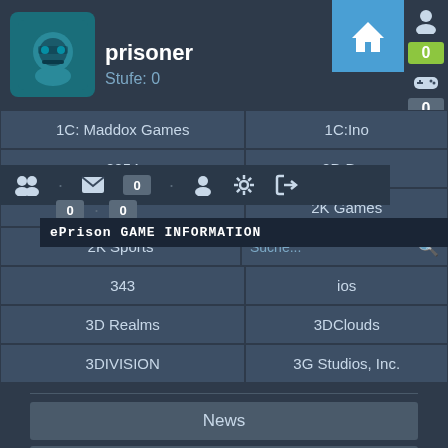[Figure (screenshot): Mobile game app screenshot showing user profile 'prisoner' at Stufe: 0, navigation bar with home button, dropdown overlay with icons, grid of game publisher names (1C: Maddox Games, 1C:Ino, 2054, 2D Boy, 2K Games, 2K Sports, 343, ePrison GAME INFORMATION tooltip, 3D Realms, 3DClouds, 3DIVISION, 3G Studios Inc.), search field, and bottom content menu with Inhalte section listing News, Spiele, Reviews, Guides]
prisoner
Stufe: 0
0
0
1C: Maddox Games
1C:Ino
2054
2D Boy
2K Games
2K Sports
Suche...
343
ePrison GAME INFORMATION
3D Realms
3DClouds
3DIVISION
3G Studios, Inc.
Inhalte
News
Spiele
Reviews
Guides